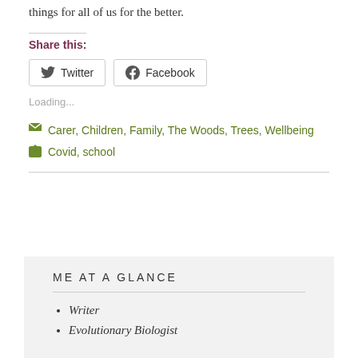things for all of us for the better.
Share this:
Twitter  Facebook
Loading...
Carer, Children, Family, The Woods, Trees, Wellbeing
Covid, school
ME AT A GLANCE
Writer
Evolutionary Biologist